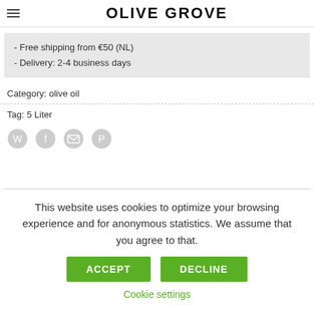OLIVE GROVE
- Free shipping from €50 (NL)
- Delivery: 2-4 business days
Category: olive oil
Tag: 5 Liter
[Figure (other): Social sharing icons: WhatsApp, Facebook, Email, Pinterest]
This website uses cookies to optimize your browsing experience and for anonymous statistics. We assume that you agree to that.
ACCEPT
DECLINE
Cookie settings